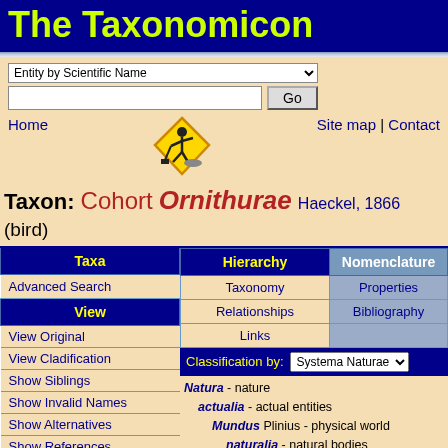The Taxonomicon
Entity by Scientific Name [dropdown] Go
Home | Site map | Contact
[Figure (illustration): Under construction warning sign — yellow diamond with worker digging icon]
Taxon: Cohort Ornithurae Haeckel, 1866 (bird)
| Taxa | Hierarchy | Nomenclature |
| --- | --- | --- |
| Advanced Search | Taxonomy | Properties |
| View | Relationships | Bibliography |
| View Original | Links |  |
| View Cladification |  |  |
| Show Siblings |  |  |
| Show Invalid Names |  |  |
| Show Alternatives |  |  |
| Show References |  |  |
| Show Info |  |  |
Classification by: Systema Naturae
Natura - nature
actualia - actual entities
Mundus Plinius - physical world
naturalia - natural bodies
[crown] Clade Biota Wagner 2004
Clade "neomura" Cavalier-Smith
Domain Eukaryota Chatton, 19